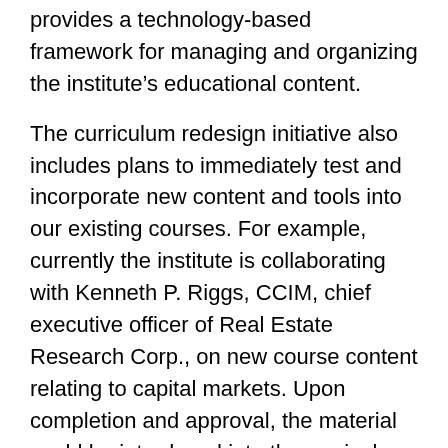provides a technology-based framework for managing and organizing the institute’s educational content.
The curriculum redesign initiative also includes plans to immediately test and incorporate new content and tools into our existing courses. For example, currently the institute is collaborating with Kenneth P. Riggs, CCIM, chief executive officer of Real Estate Research Corp., on new course content relating to capital markets. Upon completion and approval, the material could be introduced into the curriculum as early as this summer. By continually piloting and phasing in new content and tools, we ensure that students have access to the most-current industry information available.
Another objective of the curriculum revision is to present students with a diverse array of resources and tools as they progress through the entire CCIM educational track